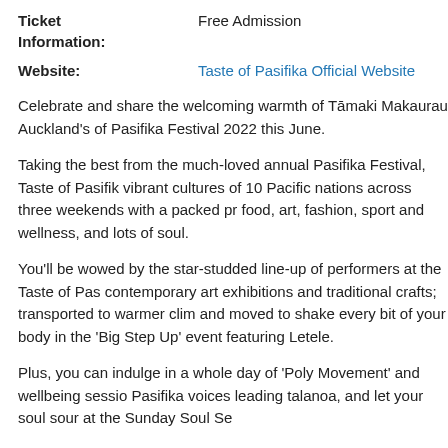Ticket Information:   Free Admission
Website:   Taste of Pasifika Official Website
Celebrate and share the welcoming warmth of Tāmaki Makaurau Auckland's of Pasifika Festival 2022 this June.
Taking the best from the much-loved annual Pasifika Festival, Taste of Pasifika vibrant cultures of 10 Pacific nations across three weekends with a packed pr food, art, fashion, sport and wellness, and lots of soul.
You'll be wowed by the star-studded line-up of performers at the Taste of Pas contemporary art exhibitions and traditional crafts; transported to warmer clim and moved to shake every bit of your body in the 'Big Step Up' event featuring Letele.
Plus, you can indulge in a whole day of 'Poly Movement' and wellbeing sessio Pasifika voices leading talanoa, and let your soul sour at the Sunday Soul Se
It's all free, and happening at The Cloud with additional events on the weeker 19th June at Vodafone Events Centre, Auckland Zoo, and Lilyworld at Mt Sma
Interested in what Taste of Pasifika Festival 2022 has to offer? See more at th website.